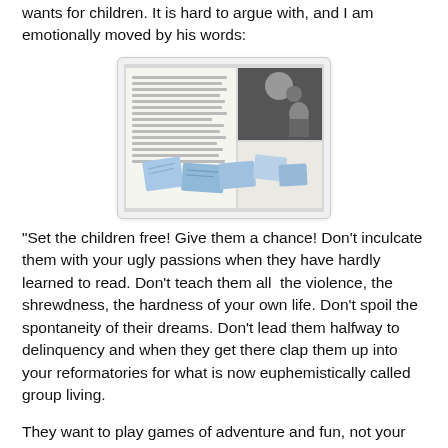wants for children. It is hard to argue with, and I am emotionally moved by his words:
[Figure (photo): An open book or magazine spread with text columns on the left and a black-and-white photo on the upper right, with several blue sticky notes or cards scattered across the pages.]
"Set the children free! Give them a chance! Don't inculcate them with your ugly passions when they have hardly learned to read. Don't teach them all  the violence, the shrewdness, the hardness of your own life. Don't spoil the spontaneity of their dreams. Don't lead them halfway to delinquency and when they get there clap them up into your reformatories for what is now euphemistically called group living.
They want to play games of adventure and fun, not your games with weapons and wars and killing. They want to learn how the world goes, what people do who achieve something or discover something. They want to grow up into men and women. Set the children free!"